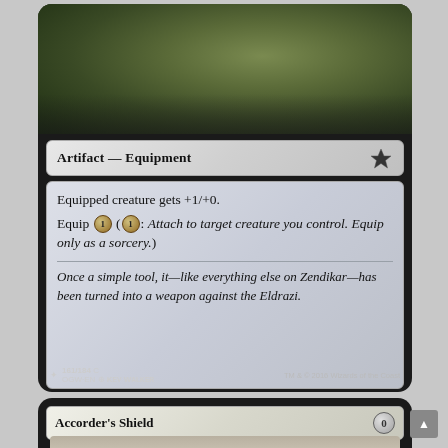[Figure (illustration): Magic: The Gathering card (top portion). Art shows a mossy rock or creature in a dark forest. Type line reads 'Artifact — Equipment'. Rules text: 'Equipped creature gets +1/+0. Equip 1 (1: Attach to target creature you control. Equip only as a sorcery.)' Flavor text: 'Once a simple tool, it—like everything else on Zendikar—has been turned into a weapon against the Eldrazi.' Card number 161/184 C OGW·EN, art by Kev Walker, TM & © 2016 Wizards of the Coast.]
[Figure (illustration): Magic: The Gathering card (bottom card, partially visible). Name: Accorder's Shield. Mana cost: 0. Art shows a shield with a figure.]